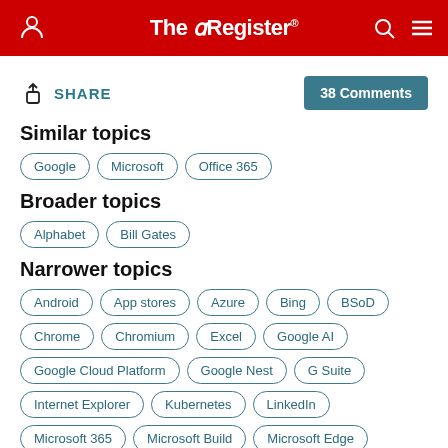The Register
SHARE  38 Comments
Similar topics
Google
Microsoft
Office 365
Broader topics
Alphabet
Bill Gates
Narrower topics
Android
App stores
Azure
Bing
BSoD
Chrome
Chromium
Excel
Google AI
Google Cloud Platform
Google Nest
G Suite
Internet Explorer
Kubernetes
LinkedIn
Microsoft 365
Microsoft Build
Microsoft Edge
Microsoft Office
Microsoft Surface
Microsoft Teams